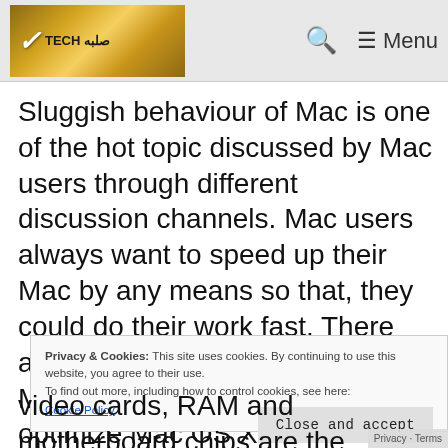Tech [logo] — Search — Menu
Sluggish behaviour of Mac is one of the hot topic discussed by Mac users through different discussion channels. Mac users always want to speed up their Mac by any means so that, they could do their work fast. There are two ways to speed up their Mac either by overclocking and optimize Mac OS X.
Privacy & Cookies: This site uses cookies. By continuing to use this website, you agree to their use. To find out more, including how to control cookies, see here: Cookie Policy
video cards, RAM and motherboard chips are the system components. It includes